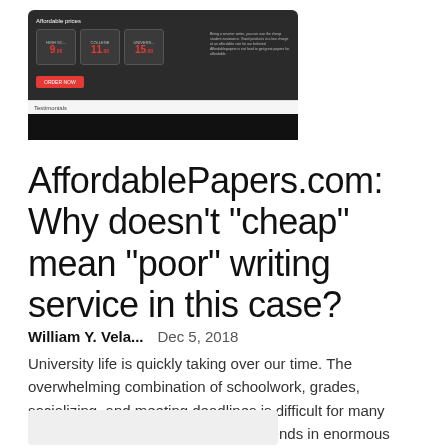[Figure (screenshot): Screenshot of AffordablePapers.com website showing 'Affordable prices' section with three price tiers ($9, $11, $15), a description text block, an order button, a 'Testimonials' label row, and a redacted black bar below.]
AffordablePapers.com: Why doesn’t “cheap” mean “poor” writing service in this case?
William Y. Vela...   Dec 5, 2018
University life is quickly taking over our time. The overwhelming combination of schoolwork, grades, socializing, and meeting deadlines is difficult for many students to deal with - which quickly ends in enormous amounts of stress and...
[Figure (screenshot): Partial screenshot/card at the bottom of the page, background light grey, content not visible.]